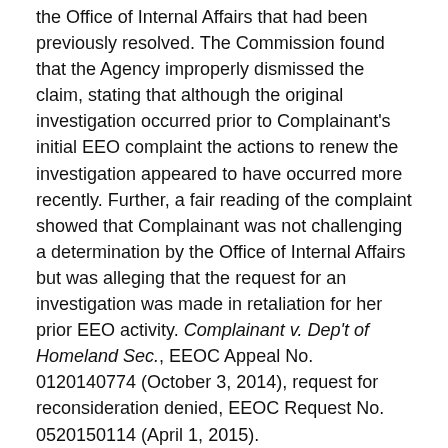the Office of Internal Affairs that had been previously resolved. The Commission found that the Agency improperly dismissed the claim, stating that although the original investigation occurred prior to Complainant's initial EEO complaint the actions to renew the investigation appeared to have occurred more recently. Further, a fair reading of the complaint showed that Complainant was not challenging a determination by the Office of Internal Affairs but was alleging that the request for an investigation was made in retaliation for her prior EEO activity. Complainant v. Dep't of Homeland Sec., EEOC Appeal No. 0120140774 (October 3, 2014), request for reconsideration denied, EEOC Request No. 0520150114 (April 1, 2015).
Complaint Alleging Denial of Continuation of Pay Properly Dismissed. Complainant's allegation that he did not receive all of the continuation of pay he requested in his application to the Department of Labor's Office of...